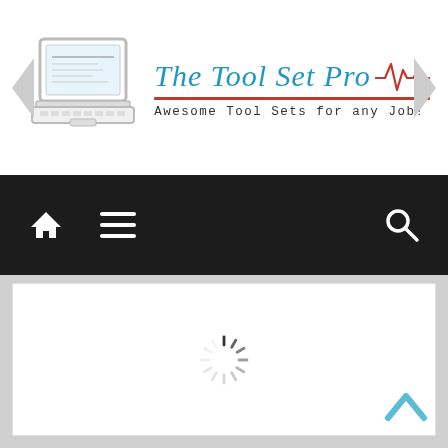[Figure (logo): The Tool Set Pro website header with laptop logo icon, brand name in cursive 'The Tool Set Pro' with a red ECG/heartbeat line, and tagline 'Awesome Tool Sets for any Job!']
[Figure (screenshot): Dark navigation bar with home icon, hamburger menu icon, and search icon]
[Figure (screenshot): White content area with a spinning loading indicator (spinner) in the center]
[Figure (other): Scroll-to-top chevron/arrow button in teal/cyan color at bottom right]